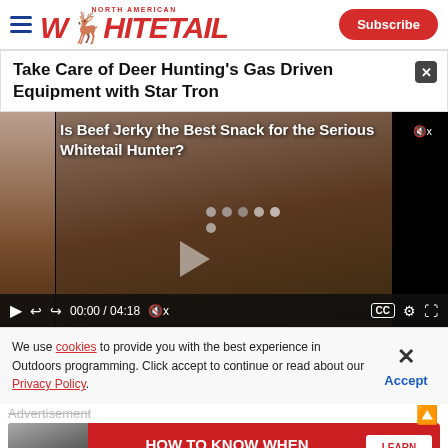North American Whitetail | Subscribe
Take Care of Deer Hunting's Gas Driven Equipment with Star Tron
[Figure (screenshot): Embedded video player showing 'Is Beef Jerky the Best Snack for the Serious Whitetail Hunter?' with video controls showing 00:00 / 04:18]
We use cookies to provide you with the best experience in Outdoors programming. Click accept to continue or read about our Privacy Policy.
Advertisement
[Figure (infographic): Advertisement banner: HOW TO KNOW WHEN YOUR DOG IS OVERHEATED - LEARN MORE]